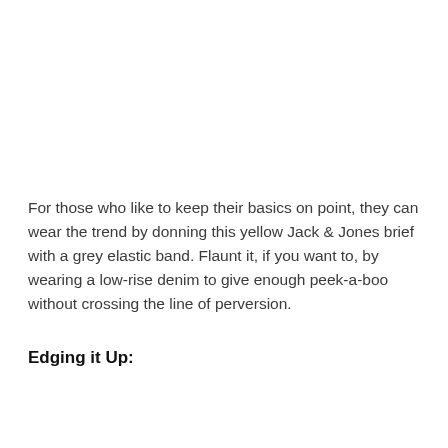For those who like to keep their basics on point, they can wear the trend by donning this yellow Jack & Jones brief with a grey elastic band. Flaunt it, if you want to, by wearing a low-rise denim to give enough peek-a-boo without crossing the line of perversion.
Edging it Up: